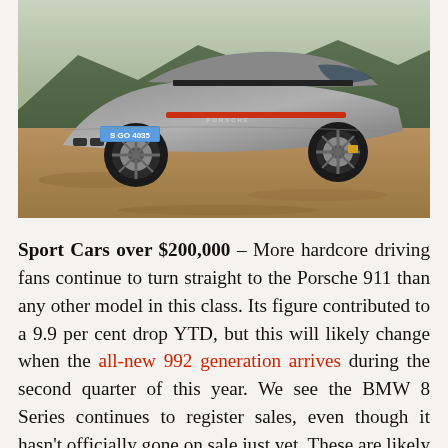[Figure (photo): Rear three-quarter view of a grey Porsche 911 (992 generation) parked on a dirt road with forested hills in the background. License plate reads S GO 4035.]
Sport Cars over $200,000 – More hardcore driving fans continue to turn straight to the Porsche 911 than any other model in this class. Its figure contributed to a 9.9 per cent drop YTD, but this will likely change when the all-new 992 generation arrives during the second quarter of this year. We see the BMW 8 Series continues to register sales, even though it hasn't officially gone on sale just yet. These are likely the first vehicles, such as demonstrators and press vehicles. The